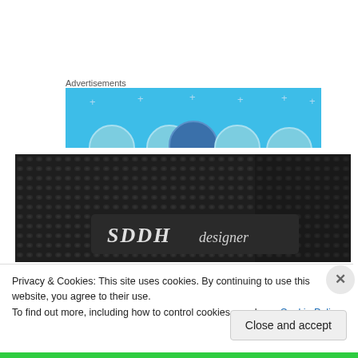Advertisements
[Figure (illustration): Blue advertisement banner with circular social media icons and sparkle decorations]
[Figure (photo): Close-up photo of dark textured leather with a brand tag reading 'SDDH designer']
Privacy & Cookies: This site uses cookies. By continuing to use this website, you agree to their use.
To find out more, including how to control cookies, see here: Cookie Policy
Close and accept